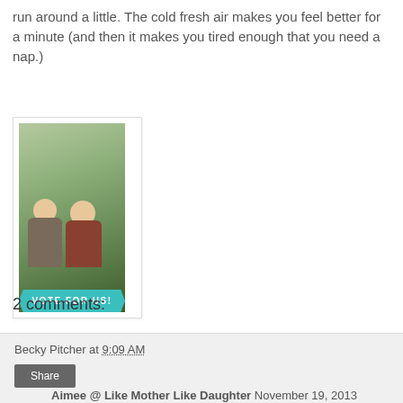run around a little. The cold fresh air makes you feel better for a minute (and then it makes you tired enough that you need a nap.)
[Figure (photo): Photo of two young children (toddlers) sitting outdoors on grass/pavement with a blue-green banner overlay reading 'VOTE FOR US!' in white letters, inside a white bordered frame.]
Becky Pitcher at 9:09 AM
Share
2 comments:
Aimee @ Like Mother Like Daughter November 19, 2013